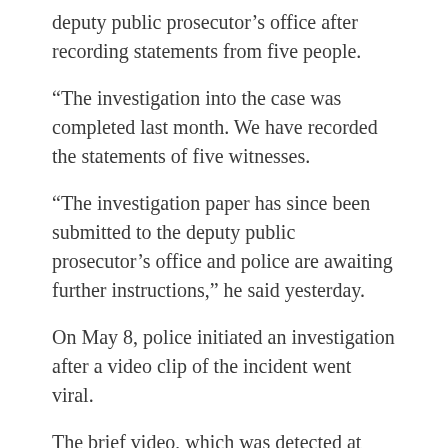deputy public prosecutor's office after recording statements from five people.
“The investigation into the case was completed last month. We have recorded the statements of five witnesses.
“The investigation paper has since been submitted to the deputy public prosecutor’s office and police are awaiting further instructions,” he said yesterday.
On May 8, police initiated an investigation after a video clip of the incident went viral.
The brief video, which was detected at 8.36pm on May 7, was uploaded on Facebook by a user named anwarazeez.